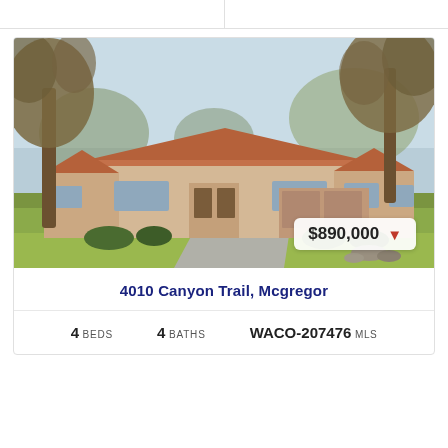[Figure (photo): Exterior photo of a single-story residential home with terracotta roof tiles, beige brick exterior, large lawn, and trees in foreground. Price badge shows $890,000 with a red downward arrow.]
4010 Canyon Trail, Mcgregor
4 BEDS   4 BATHS   WACO-207476 MLS